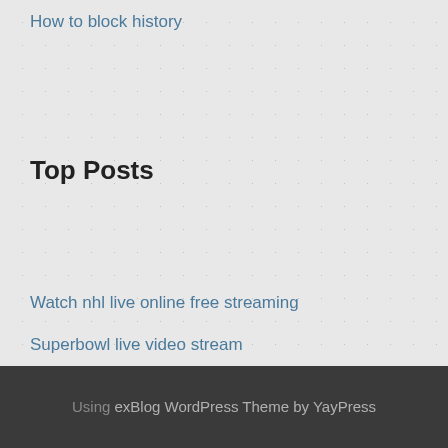How to block history
Top Posts
Watch nhl live online free streaming
Superbowl live video stream
Xbox 360 wired network
Tor porn search
Uk yahoo images
Using exBlog WordPress Theme by YayPress